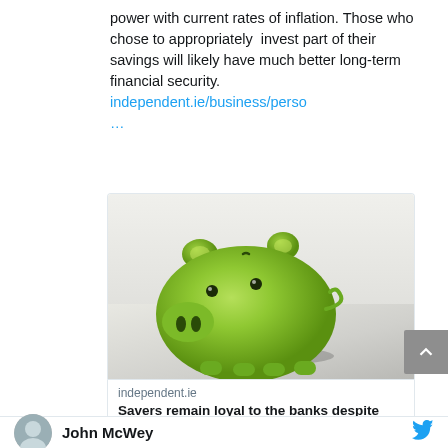power with current rates of inflation. Those who chose to appropriately invest part of their savings will likely have much better long-term financial security. independent.ie/business/perso ...
[Figure (photo): Green ceramic piggy bank on a grey surface with blurred light background]
independent.ie
Savers remain loyal to the banks despite getting nothing in return
1
John McWey